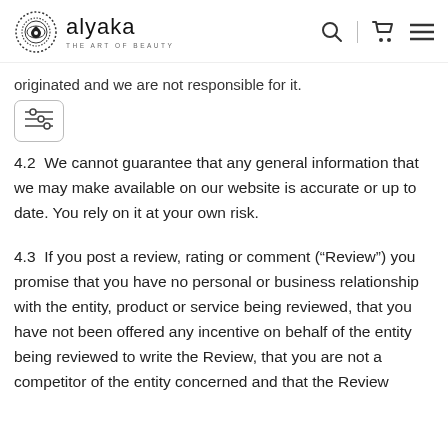alyaka THE ART OF BEAUTY
originated and we are not responsible for it.
4.2  We cannot guarantee that any general information that we may make available on our website is accurate or up to date. You rely on it at your own risk.
4.3  If you post a review, rating or comment (“Review”) you promise that you have no personal or business relationship with the entity, product or service being reviewed, that you have not been offered any incentive on behalf of the entity being reviewed to write the Review, that you are not a competitor of the entity concerned and that the Review